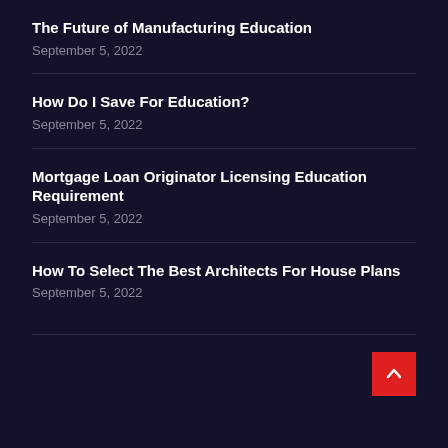The Future of Manufacturing Education
September 5, 2022
How Do I Save For Education?
September 5, 2022
Mortgage Loan Originator Licensing Education Requirement
September 5, 2022
How To Select The Best Architects For House Plans
September 5, 2022